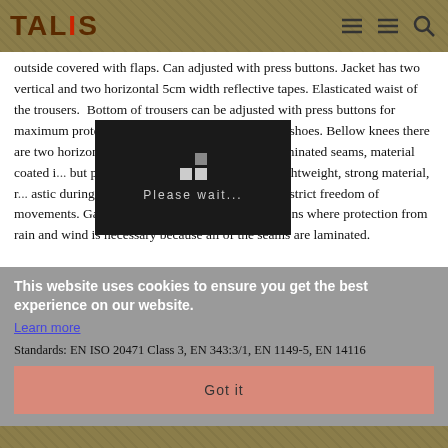TALIS
outside covered with flaps. Can adjusted with press buttons. Jacket has two vertical and two horizontal 5cm width reflective tapes. Elasticated waist of the trousers.  Bottom of trousers can be adjusted with press buttons for maximum protection from water getting inside the shoes. Bellow knees there are two horizontal 5cm reflective tapes. Double laminated seams, material coated i... but permeable to warmth and ai... th. Lightweight, strong material, r... astic during low temperature hem... and don't restrict freedom of movements. Garment is for use in extreme conditions where protection from rain and wind is necessary because all of the seams are laminated.
[Figure (screenshot): Video loading overlay showing 'Please wait...' with spinner squares on dark background]
This website uses cookies to ensure you get the best experience on our website.
Learn more
Standards: EN ISO 20471 Class 3, EN 343:3/1, EN 1149-5, EN 14116
Got it